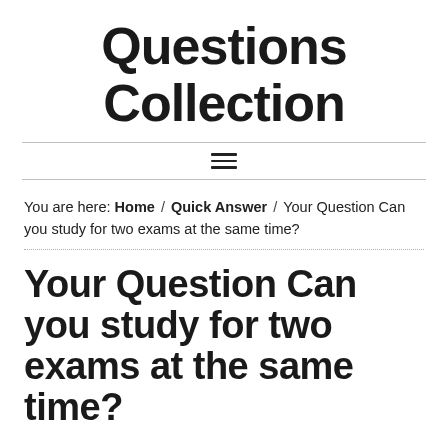Questions Collection
≡
You are here: Home / Quick Answer / Your Question Can you study for two exams at the same time?
Your Question Can you study for two exams at the same time?